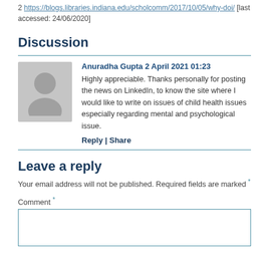2 https://blogs.libraries.indiana.edu/scholcomm/2017/10/05/why-doi/ [last accessed: 24/06/2020]
Discussion
[Figure (illustration): Gray avatar/person silhouette placeholder image]
Anuradha Gupta 2 April 2021 01:23
Highly appreciable. Thanks personally for posting the news on LinkedIn, to know the site where I would like to write on issues of child health issues especially regarding mental and psychological issue.
Reply | Share
Leave a reply
Your email address will not be published. Required fields are marked *
Comment *